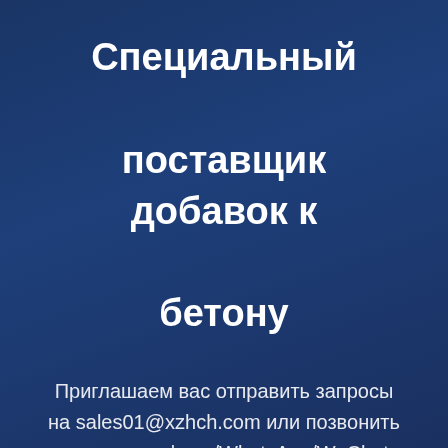Специальный поставщик добавок к бетону
Приглашаем вас отправить запросы на sales01@xzhch.com или позвонить нам по телефону/WhatsApp/WeChat: 86-138-8985-0231
冀ICP备12007065号-1